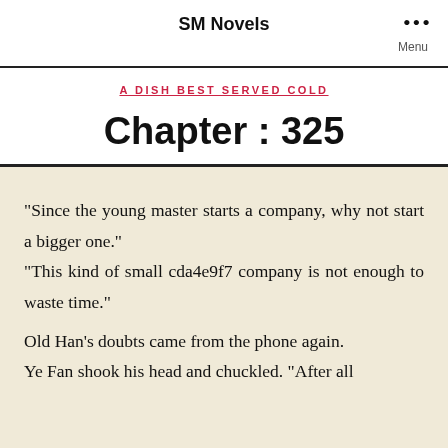SM Novels
A DISH BEST SERVED COLD
Chapter : 325
“Since the young master starts a company, why not start a bigger one.”
“This kind of small cda4e9f7 company is not enough to waste time.”
Old Han’s doubts came from the phone again.
Ye Fan shook his head and chuckled. “After all